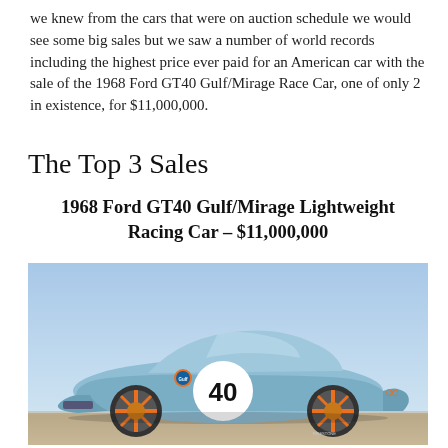we knew from the cars that were on auction schedule we would see some big sales but we saw a number of world records including the highest price ever paid for an American car with the sale of the 1968 Ford GT40 Gulf/Mirage Race Car, one of only 2 in existence, for $11,000,000.
The Top 3 Sales
1968 Ford GT40 Gulf/Mirage Lightweight Racing Car – $11,000,000
[Figure (photo): Side profile photo of a light blue 1968 Ford GT40 Gulf/Mirage Lightweight Racing Car with orange wheels and the number 40 on the door, photographed outdoors against a clear blue sky on a desert road.]